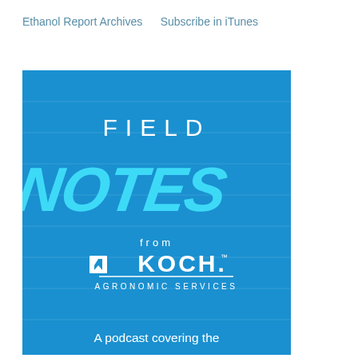Ethanol Report Archives   Subscribe in iTunes
[Figure (illustration): Field Notes from Koch Agronomic Services podcast cover art. Blue background with horizontal subtle lines. White uppercase 'FIELD' text, large cyan handwritten-style 'NOTES' text, 'from' in white, Koch Agronomic Services logo in white, and partial text 'A podcast covering the' at bottom.]